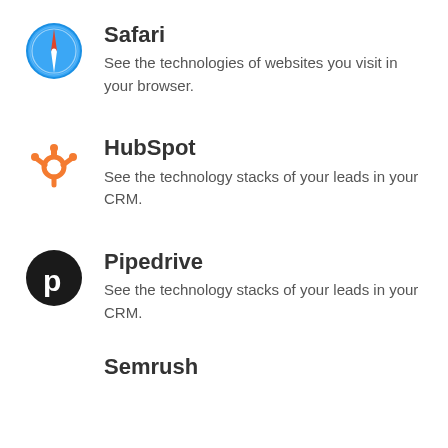[Figure (logo): Safari browser app icon — blue compass on white circle]
Safari
See the technologies of websites you visit in your browser.
[Figure (logo): HubSpot logo — orange sprocket/magnet icon]
HubSpot
See the technology stacks of your leads in your CRM.
[Figure (logo): Pipedrive logo — black circle with white lowercase p]
Pipedrive
See the technology stacks of your leads in your CRM.
Semrush